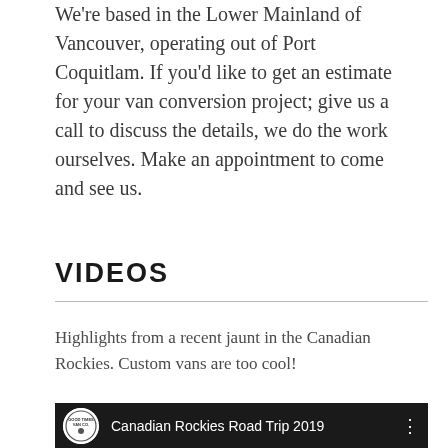We're based in the Lower Mainland of Vancouver, operating out of Port Coquitlam. If you'd like to get an estimate for your van conversion project; give us a call to discuss the details, we do the work ourselves. Make an appointment to come and see us.
VIDEOS
Highlights from a recent jaunt in the Canadian Rockies. Custom vans are too cool!
[Figure (screenshot): Video thumbnail showing a dark/black background with a circular logo on the left and the title 'Canadian Rockies Road Trip 2019' in white text, with a vertical three-dot menu icon on the right.]